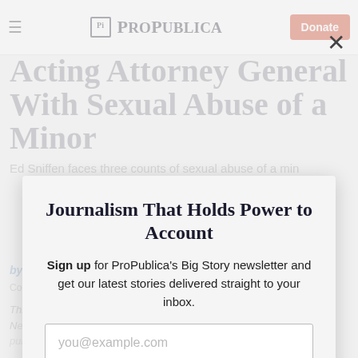ProPublica — Donate
Acting Attorney General Charged With Sexual Abuse of a Minor
Ed Sniffen faces three counts of sexual abuse of a minor. He also coached in high school.
by Kyle Hopkins, Anchorage Daily News
Co-published with Anchorage Daily News
Journalism That Holds Power to Account
Sign up for ProPublica's Big Story newsletter and get our latest stories delivered straight to your inbox.
you@example.com
Get the Newsletter
No thanks, I'm all set
This article was produced for ProPublica's Local Reporting Network
This site is protected by reCAPTCHA and the Google Privacy Policy and Terms of Service apply.